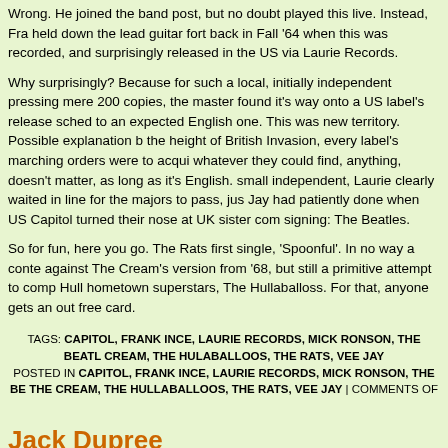Wrong. He joined the band post, but no doubt played this live. Instead, Fra held down the lead guitar fort back in Fall '64 when this was recorded, and surprisingly released in the US via Laurie Records.
Why surprisingly? Because for such a local, initially independent pressing mere 200 copies, the master found it's way onto a US label's release sched to an expected English one. This was new territory. Possible explanation b the height of British Invasion, every label's marching orders were to acqui whatever they could find, anything, doesn't matter, as long as it's English. small independent, Laurie clearly waited in line for the majors to pass, jus Jay had patiently done when US Capitol turned their nose at UK sister com signing: The Beatles.
So for fun, here you go. The Rats first single, 'Spoonful'. In no way a conte against The Cream's version from '68, but still a primitive attempt to comp Hull hometown superstars, The Hullaballoss. For that, anyone gets an out free card.
TAGS: CAPITOL, FRANK INCE, LAURIE RECORDS, MICK RONSON, THE BEATL CREAM, THE HULABALLOOS, THE RATS, VEE JAY
POSTED IN CAPITOL, FRANK INCE, LAURIE RECORDS, MICK RONSON, THE BE THE CREAM, THE HULLABALLOOS, THE RATS, VEE JAY | COMMENTS OF
Jack Dupree
FRIDAY, NOVEMBER 19TH, 2010